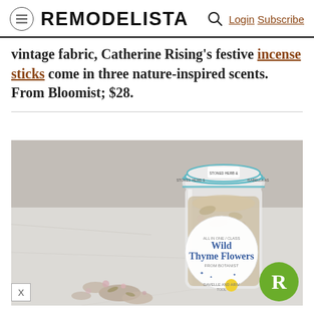REMODELISTA  Login  Subscribe
vintage fabric, Catherine Rising’s festive incense sticks come in three nature-inspired scents. From Bloomist; $28.
[Figure (photo): A glass jar labeled 'Wild Thyme Flowers' containing dried floral herbs, with some loose dried flowers scattered in front, on a marble surface. The jar has a teal-rimmed lid and a circular label.]